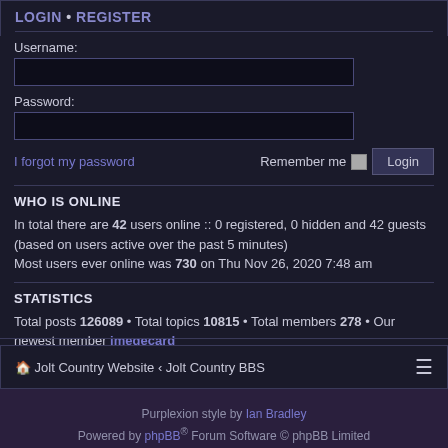LOGIN • REGISTER
Username:
Password:
I forgot my password   Remember me  Login
WHO IS ONLINE
In total there are 42 users online :: 0 registered, 0 hidden and 42 guests (based on users active over the past 5 minutes) Most users ever online was 730 on Thu Nov 26, 2020 7:48 am
STATISTICS
Total posts 126089 • Total topics 10815 • Total members 278 • Our newest member imegecard
🏠 Jolt Country Website ‹ Jolt Country BBS
Purplexion style by Ian Bradley Powered by phpBB® Forum Software © phpBB Limited Privacy | Terms